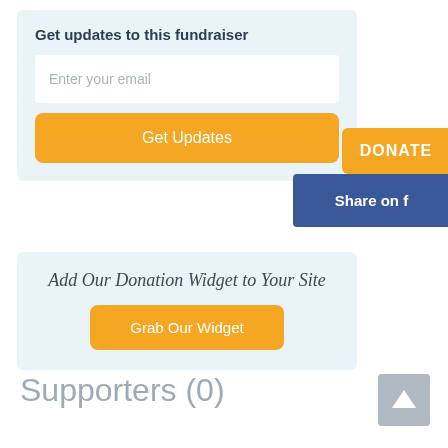Get updates to this fundraiser
Enter your email
Get Updates
DONATE
Share on f
Add Our Donation Widget to Your Site
Grab Our Widget
Supporters (0)